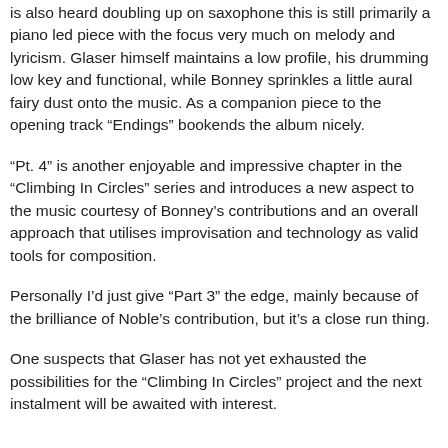is also heard doubling up on saxophone this is still primarily a piano led piece with the focus very much on melody and lyricism. Glaser himself maintains a low profile, his drumming low key and functional, while Bonney sprinkles a little aural fairy dust onto the music. As a companion piece to the opening track “Endings” bookends the album nicely.
“Pt. 4” is another enjoyable and impressive chapter in the “Climbing In Circles” series and introduces a new aspect to the music courtesy of Bonney’s contributions and an overall approach that utilises improvisation and technology as valid tools for composition.
Personally I’d just give “Part 3” the edge, mainly because of the brilliance of Noble’s contribution, but it’s a close run thing.
One suspects that Glaser has not yet exhausted the possibilities for the “Climbing In Circles” project and the next instalment will be awaited with interest.